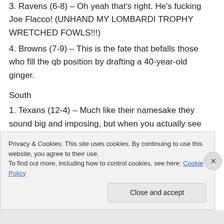3. Ravens (6-8) – Oh yeah that's right. He's fucking Joe Flacco! (UNHAND MY LOMBARDI TROPHY WRETCHED FOWLS!!!)
4. Browns (7-9) – This is the fate that befalls those who fill the qb position by drafting a 40-year-old ginger.
South
1. Texans (12-4) – Much like their namesake they sound big and imposing, but when you actually see them, you realize how much they suck. Lucky for them, they are the least sucky
Privacy & Cookies: This site uses cookies. By continuing to use this website, you agree to their use.
To find out more, including how to control cookies, see here: Cookie Policy
Close and accept